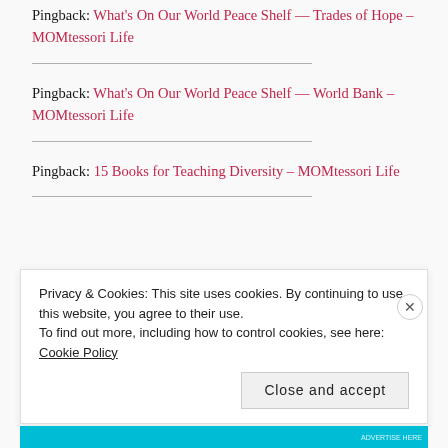Pingback: What's On Our World Peace Shelf — Trades of Hope – MOMtessori Life
Pingback: What's On Our World Peace Shelf — World Bank – MOMtessori Life
Pingback: 15 Books for Teaching Diversity – MOMtessori Life
Privacy & Cookies: This site uses cookies. By continuing to use this website, you agree to their use. To find out more, including how to control cookies, see here: Cookie Policy